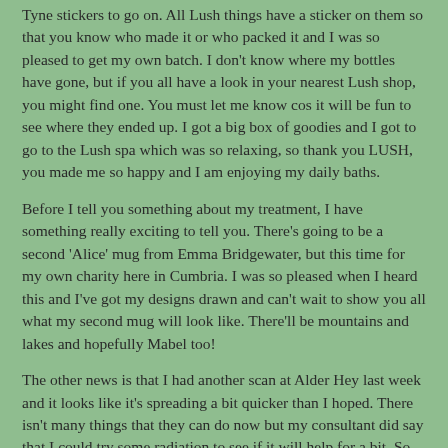Tyne stickers to go on. All Lush things have a sticker on them so that you know who made it or who packed it and I was so pleased to get my own batch. I don't know where my bottles have gone, but if you all have a look in your nearest Lush shop, you might find one. You must let me know cos it will be fun to see where they ended up. I got a big box of goodies and I got to go to the Lush spa which was so relaxing, so thank you LUSH, you made me so happy and I am enjoying my daily baths.
Before I tell you something about my treatment, I have something really exciting to tell you. There's going to be a second 'Alice' mug from Emma Bridgewater, but this time for my own charity here in Cumbria. I was so pleased when I heard this and I've got my designs drawn and can't wait to show you all what my second mug will look like. There'll be mountains and lakes and hopefully Mabel too!
The other news is that I had another scan at Alder Hey last week and it looks like it's spreading a bit quicker than I hoped. There isn't many things that they can do now but my consultant did say that I could try some radiation to see if it will help for a bit. So we met my new consultant at Clatterbridge who is called Freda and she's really nice. This task who has been so my doing the planning